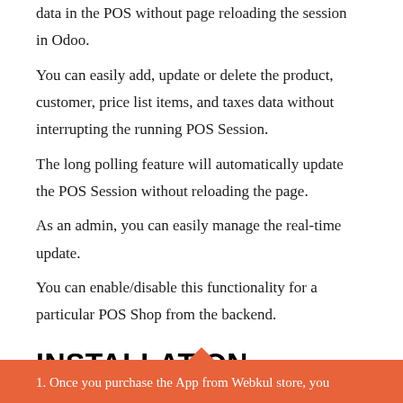data in the POS without page reloading the session in Odoo.
You can easily add, update or delete the product, customer, price list items, and taxes data without interrupting the running POS Session.
The long polling feature will automatically update the POS Session without reloading the page.
As an admin, you can easily manage the real-time update.
You can enable/disable this functionality for a particular POS Shop from the backend.
INSTALLATION
1. Once you purchase the App from Webkul store, you